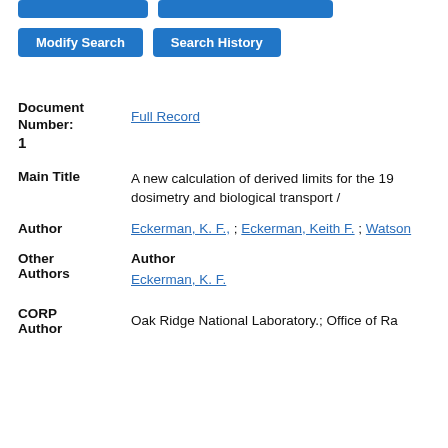[Figure (screenshot): Two partially visible blue buttons at top of page (cropped)]
[Figure (screenshot): Modify Search and Search History blue buttons]
Document Number: Full Record
1
Main Title	A new calculation of derived limits for the 19... dosimetry and biological transport /
Author	Eckerman, K. F., ; Eckerman, Keith F. ; Watson...
Other Authors	Author
Eckerman, K. F.
CORP Author	Oak Ridge National Laboratory.; Office of Ra...